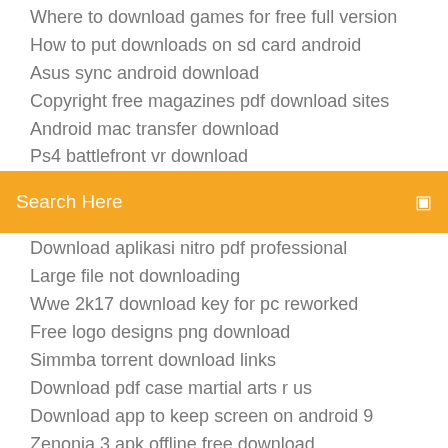Where to download games for free full version
How to put downloads on sd card android
Asus sync android download
Copyright free magazines pdf download sites
Android mac transfer download
Ps4 battlefront vr download
[Figure (other): Search bar with orange background and text 'Search Here']
Download aplikasi nitro pdf professional
Large file not downloading
Wwe 2k17 download key for pc reworked
Free logo designs png download
Simmba torrent download links
Download pdf case martial arts r us
Download app to keep screen on android 9
Zenonia 3 apk offline free download
Torrents download inside horror movie
Poder. to download music to android phone
Download driver canon i80 printer